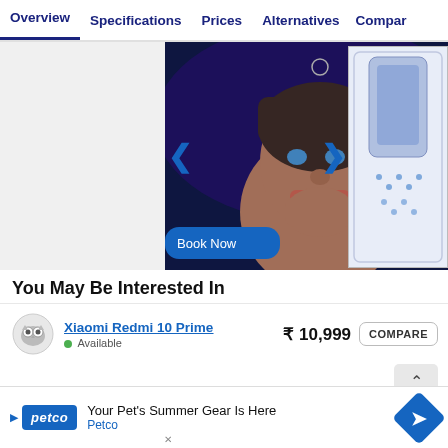Overview  Specifications  Prices  Alternatives  Compare
[Figure (photo): Product image carousel showing a smartphone with a promotional image featuring a young person; blue navigation arrows on left and right; partially visible secondary product image on the right side]
You May Be Interested In
Xiaomi Redmi 10 Prime  ₹ 10,999  COMPARE  Available
Samsung Galaxy F22  ₹ 11,310  COMPARE  Available
Your Pet's Summer Gear Is Here  Petco